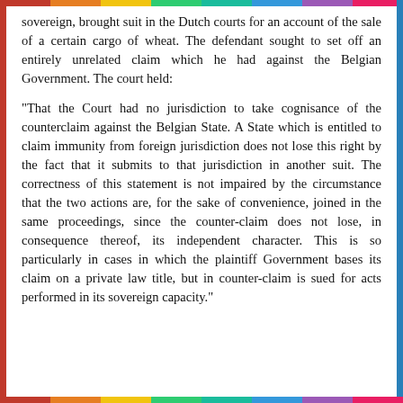sovereign, brought suit in the Dutch courts for an account of the sale of a certain cargo of wheat. The defendant sought to set off an entirely unrelated claim which he had against the Belgian Government. The court held:
"That the Court had no jurisdiction to take cognisance of the counterclaim against the Belgian State. A State which is entitled to claim immunity from foreign jurisdiction does not lose this right by the fact that it submits to that jurisdiction in another suit. The correctness of this statement is not impaired by the circumstance that the two actions are, for the sake of convenience, joined in the same proceedings, since the counter-claim does not lose, in consequence thereof, its independent character. This is so particularly in cases in which the plaintiff Government bases its claim on a private law title, but in counter-claim is sued for acts performed in its sovereign capacity."